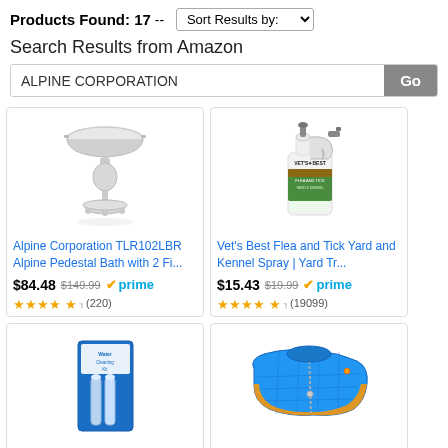Products Found: 17 -- Sort Results by:
Search Results from Amazon
ALPINE CORPORATION
[Figure (photo): White ceramic pedestal bird bath with decorative base]
Alpine Corporation TLR102LBR Alpine Pedestal Bath with 2 Fi...
$84.48  $149.99  prime
★★★★½ (220)
[Figure (photo): Vet's Best Flea and Tick Yard and Kennel Spray bottle]
Vet's Best Flea and Tick Yard and Kennel Spray | Yard Tr...
$15.43  $19.99  prime
★★★★½ (19099)
[Figure (photo): Blue cleaning kit product in packaging]
[Figure (photo): Blue and orange quilted dog jacket/coat]